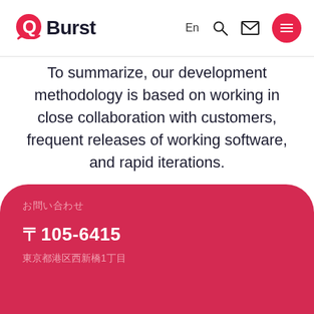uninterruptedly
[Figure (logo): QBurst company logo with red Q circle icon and bold dark text 'Burst', with navigation icons: En, search, mail, and red hamburger menu button]
To summarize, our development methodology is based on working in close collaboration with customers, frequent releases of working software, and rapid iterations.
お問い合わせ
〒105-6415
東京都港区西新橋1丁目